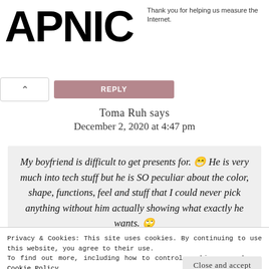APNIC | Thank you for helping us measure the Internet.
^ REPLY
Toma Ruh says
December 2, 2020 at 4:47 pm
My boyfriend is difficult to get presents for. 😁 He is very much into tech stuff but he is SO peculiar about the color, shape, functions, feel and stuff that I could never pick anything without him actually showing what exactly he wants. 🙄
Privacy & Cookies: This site uses cookies. By continuing to use this website, you agree to their use.
To find out more, including how to control cookies, see here: Cookie Policy
Close and accept